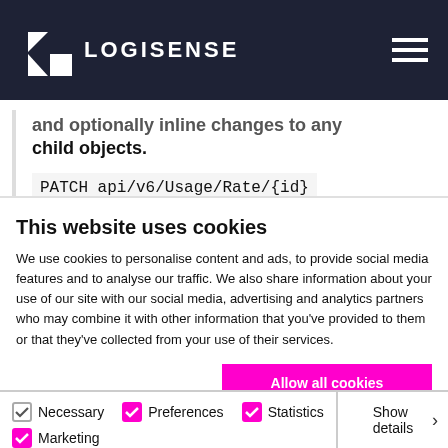LOGISENSE
and optionally inline changes to any child objects.
This website uses cookies
We use cookies to personalise content and ads, to provide social media features and to analyse our traffic. We also share information about your use of our site with our social media, advertising and analytics partners who may combine it with other information that you've provided to them or that they've collected from your use of their services.
Allow all cookies
Allow selection
Use necessary cookies only
Necessary
Preferences
Statistics
Marketing
Show details